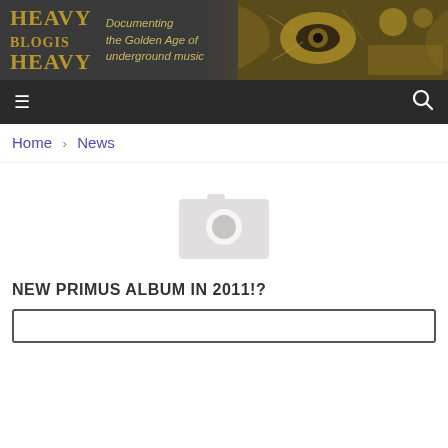[Figure (logo): Heavy Blog Is Heavy website header banner with logo text and decorative golden eye/skull artwork on dark background. Tagline reads: Documenting the Golden Age of underground music]
≡  🔍
Home › News
[Figure (other): Placeholder camera icon image (no photo loaded)]
NEW PRIMUS ALBUM IN 2011!?